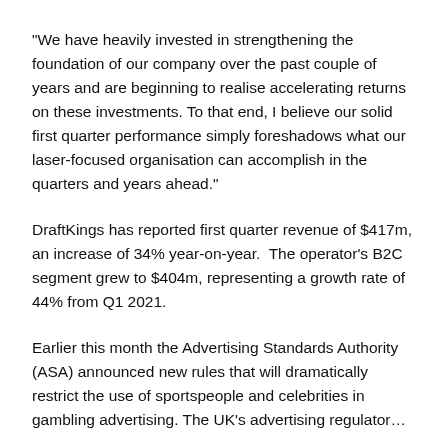"We have heavily invested in strengthening the foundation of our company over the past couple of years and are beginning to realise accelerating returns on these investments. To that end, I believe our solid first quarter performance simply foreshadows what our laser-focused organisation can accomplish in the quarters and years ahead."
DraftKings has reported first quarter revenue of $417m, an increase of 34% year-on-year. The operator's B2C segment grew to $404m, representing a growth rate of 44% from Q1 2021.
Earlier this month the Advertising Standards Authority (ASA) announced new rules that will dramatically restrict the use of sportspeople and celebrities in gambling advertising. The UK's advertising regulator...